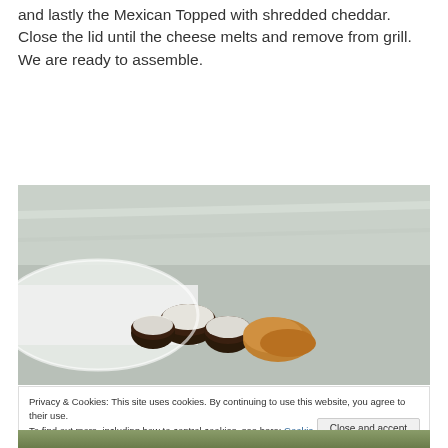and lastly the Mexican Topped with shredded cheddar. Close the lid until the cheese melts and remove from grill. We are ready to assemble.
[Figure (photo): Close-up photo of a white plate with what appears to be dark chocolate-topped pastries or sliders with white cream/cheese topping, alongside some golden-brown food items, on a reflective metallic surface]
Privacy & Cookies: This site uses cookies. By continuing to use this website, you agree to their use.
To find out more, including how to control cookies, see here: Cookie Policy
Close and accept